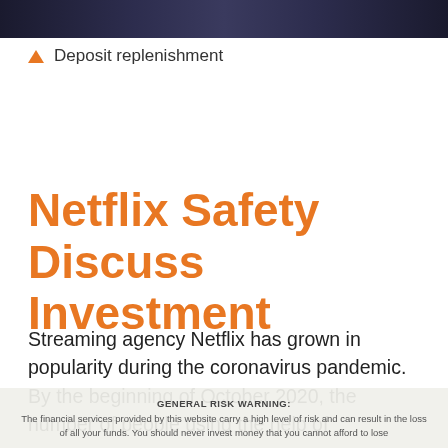[Figure (photo): Dark banner image at top of page, appears to be a Netflix or streaming-related photo with dark background and some red/orange tones]
▲ Deposit replenishment
Netflix Safety Discuss Investment
Streaming agency Netflix has grown in popularity during the coronavirus pandemic. By the beginning of October 2020, the number of people using the help of ...
GENERAL RISK WARNING: The financial services provided by this website carry a high level of risk and can result in the loss of all your funds. You should never invest money that you cannot afford to lose